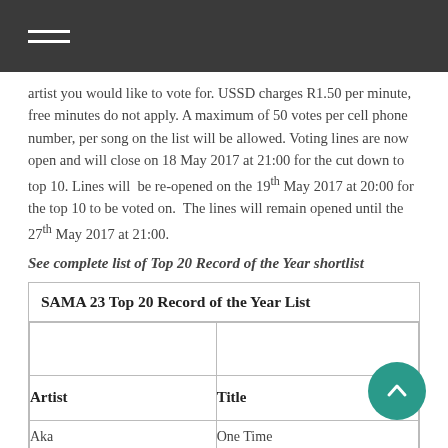artist you would like to vote for. USSD charges R1.50 per minute, free minutes do not apply. A maximum of 50 votes per cell phone number, per song on the list will be allowed. Voting lines are now open and will close on 18 May 2017 at 21:00 for the cut down to top 10. Lines will be re-opened on the 19th May 2017 at 20:00 for the top 10 to be voted on. The lines will remain opened until the 27th May 2017 at 21:00.
See complete list of Top 20 Record of the Year shortlist
| Artist | Title |
| --- | --- |
| Aka | One Time |